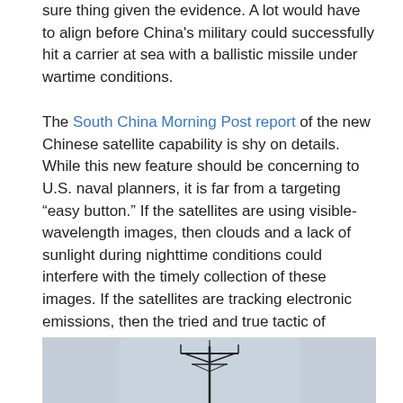sure thing given the evidence. A lot would have to align before China's military could successfully hit a carrier at sea with a ballistic missile under wartime conditions.
The South China Morning Post report of the new Chinese satellite capability is shy on details. While this new feature should be concerning to U.S. naval planners, it is far from a targeting “easy button.” If the satellites are using visible-wavelength images, then clouds and a lack of sunlight during nighttime conditions could interfere with the timely collection of these images. If the satellites are tracking electronic emissions, then the tried and true tactic of Emissions Control (EMCON) remains highly effective at preventing detection, as Congressional Research Reports highlight. Also, the United States has demonstrated the ability to destroy enemy satellites in orbit.
[Figure (photo): Photograph showing a naval radar or communications mast silhouetted against a hazy sky, viewed from below.]